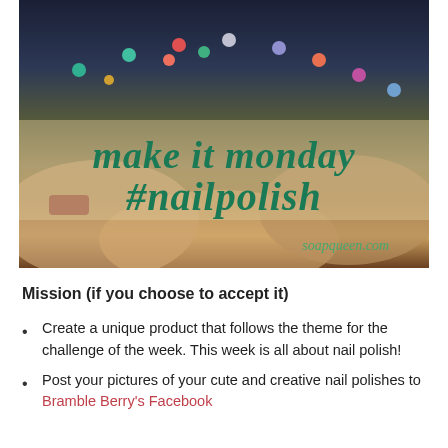[Figure (photo): Photo of multiple hands with colorful nail polish (teal, coral, purple, gold), overlaid with the text 'make it monday #nailpolish' in teal italic font, and 'soapqueen.com' watermark.]
Mission (if you choose to accept it)
Create a unique product that follows the theme for the challenge of the week. This week is all about nail polish!
Post your pictures of your cute and creative nail polishes to Bramble Berry's Facebook